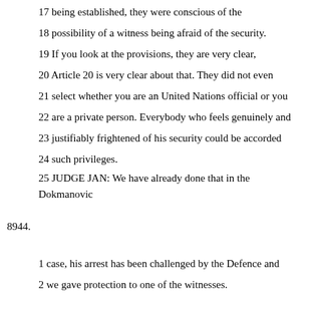17 being established, they were conscious of the
18 possibility of a witness being afraid of the security.
19 If you look at the provisions, they are very clear,
20 Article 20 is very clear about that. They did not even
21 select whether you are an United Nations official or you
22 are a private person. Everybody who feels genuinely and
23 justifiably frightened of his security could be accorded
24 such privileges.
25 JUDGE JAN: We have already done that in the Dokmanovic
8944.
1 case, his arrest has been challenged by the Defence and
2 we gave protection to one of the witnesses.